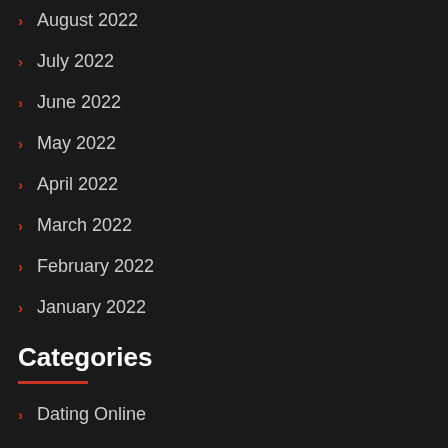August 2022
July 2022
June 2022
May 2022
April 2022
March 2022
February 2022
January 2022
Categories
Dating Online
My Blog
Uncategorized
Windows 10 Dll-tiedostot